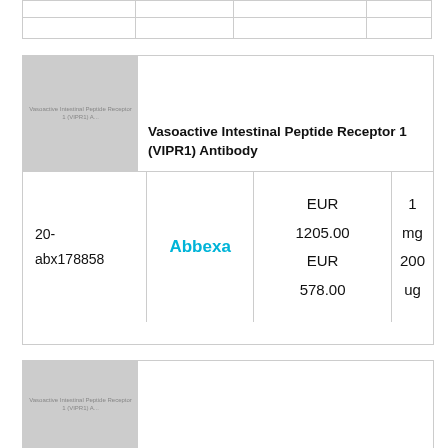|  |  |  |  |
|  |  |  |  |
[Figure (photo): Gray placeholder image for Vasoactive Intestinal Peptide Receptor 1 (VIPR1) Antibody product]
| Vasoactive Intestinal Peptide Receptor 1 (VIPR1) Antibody |  |  |  |
| 20-abx178858 | Abbexa | EUR 1205.00
EUR 578.00 | 1 mg
200 ug |
|  |  |  |  |
[Figure (photo): Gray placeholder image for second product (partially visible at bottom)]